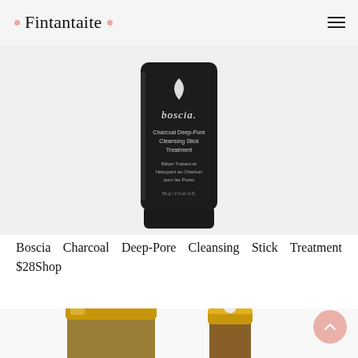Fintantaite
[Figure (photo): Boscia Charcoal Deep-Pore Cleansing Stick Treatment product photo — a tall black cylindrical stick/tube with white text on a light gray background]
Boscia Charcoal Deep-Pore Cleansing Stick Treatment $28Shop
[Figure (photo): Luxury gold-lidded skincare jar and dropper bottle with amber glass on a light background]